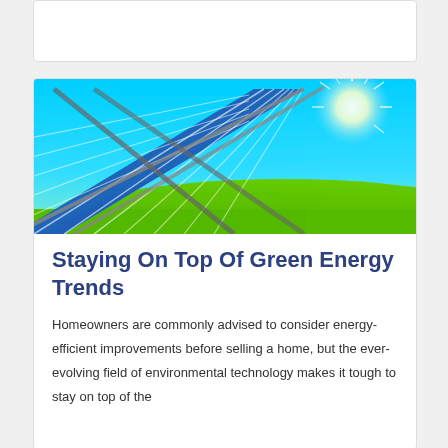[Figure (photo): Solar panels angled upward against a bright blue sky with a shining sun, with green grass field visible in the background.]
Staying On Top Of Green Energy Trends
Homeowners are commonly advised to consider energy-efficient improvements before selling a home, but the ever-evolving field of environmental technology makes it tough to stay on top of the